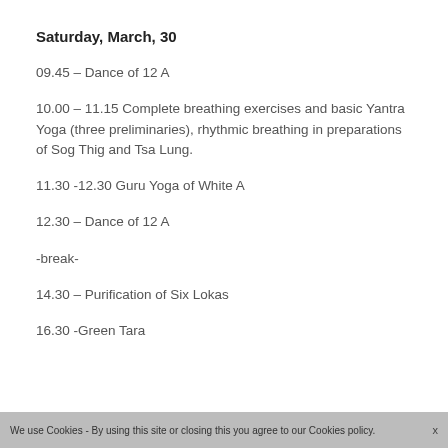Saturday, March, 30
09.45 – Dance of 12 A
10.00 – 11.15 Complete breathing exercises and basic Yantra Yoga (three preliminaries), rhythmic breathing in preparations of Sog Thig and Tsa Lung.
11.30 -12.30 Guru Yoga of White A
12.30 – Dance of 12 A
-break-
14.30 – Purification of Six Lokas
16.30 -Green Tara
We use Cookies - By using this site or closing this you agree to our Cookies policy.